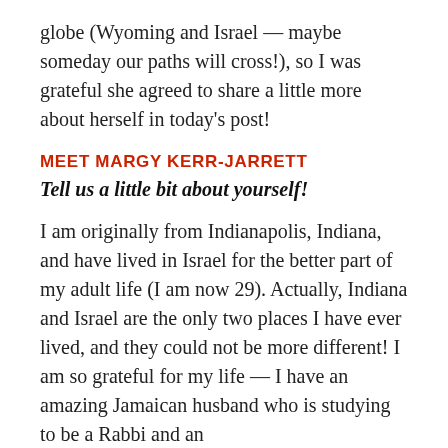globe (Wyoming and Israel — maybe someday our paths will cross!), so I was grateful she agreed to share a little more about herself in today's post!
MEET MARGY KERR-JARRETT
Tell us a little bit about yourself!
I am originally from Indianapolis, Indiana, and have lived in Israel for the better part of my adult life (I am now 29). Actually, Indiana and Israel are the only two places I have ever lived, and they could not be more different! I am so grateful for my life — I have an amazing Jamaican husband who is studying to be a Rabbi and an